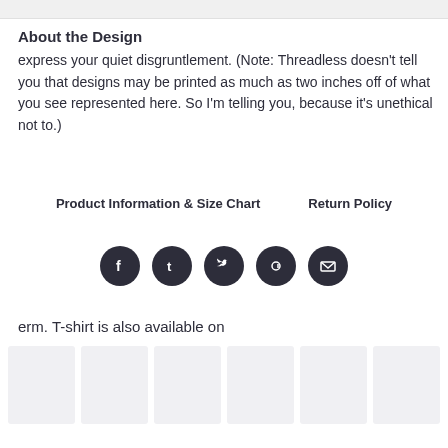About the Design
express your quiet disgruntlement. (Note: Threadless doesn't tell you that designs may be printed as much as two inches off of what you see represented here. So I'm telling you, because it's unethical not to.)
Product Information & Size Chart     Return Policy
[Figure (infographic): Five social sharing icons (Facebook, Tumblr, Twitter, Pinterest, Email) as dark circular buttons]
erm. T-shirt is also available on
[Figure (infographic): Six placeholder thumbnail images in a row showing product variants]